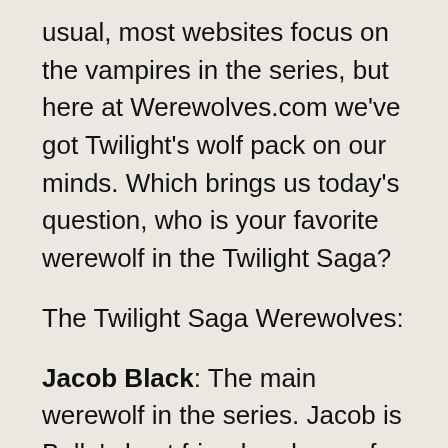usual, most websites focus on the vampires in the series, but here at Werewolves.com we've got Twilight's wolf pack on our minds. Which brings us today's question, who is your favorite werewolf in the Twilight Saga?
The Twilight Saga Werewolves:
Jacob Black: The main werewolf in the series. Jacob is Bella's best friend and one of her love interests. He is a Quileute Native American that is described as a lanky 6'2″ fifteen-year-old with hair down to his shoulders in Twilight. By Eclipse, Jacob